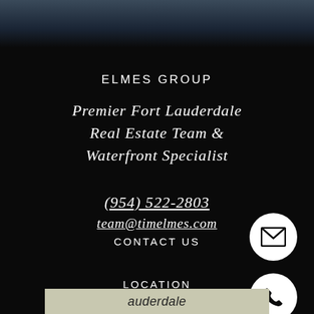[Figure (photo): Dark textured photo background at top of page]
ELMES GROUP
Premier Fort Lauderdale Real Estate Team & Waterfront Specialist
(954) 522-2803
team@timelmes.com
CONTACT US
[Figure (illustration): White circle button with envelope/email icon]
[Figure (illustration): White circle button with phone icon]
LOCATION
[Figure (map): Partial map showing Fort Lauderdale area]